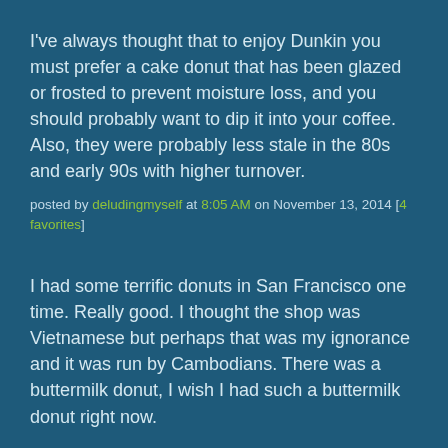I've always thought that to enjoy Dunkin you must prefer a cake donut that has been glazed or frosted to prevent moisture loss, and you should probably want to dip it into your coffee. Also, they were probably less stale in the 80s and early 90s with higher turnover.
posted by deludingmyself at 8:05 AM on November 13, 2014 [4 favorites]
I had some terrific donuts in San Francisco one time. Really good. I thought the shop was Vietnamese but perhaps that was my ignorance and it was run by Cambodians. There was a buttermilk donut, I wish I had such a buttermilk donut right now.
You can't get meaningful donuts in Minneapolis. There's artisanal hipster donuts around town, and our local tiny-cake-donuts-with-cinnamon-sugar, but the hipster donuts